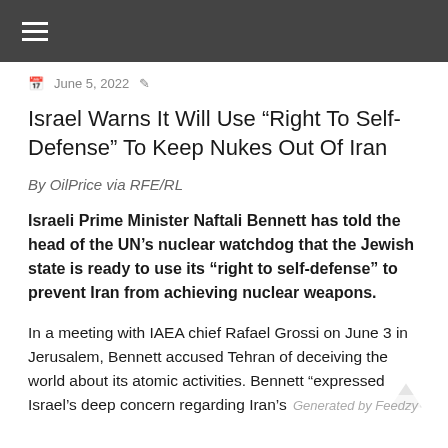≡
June 5, 2022
Israel Warns It Will Use “Right To Self-Defense” To Keep Nukes Out Of Iran
By OilPrice via RFE/RL
Israeli Prime Minister Naftali Bennett has told the head of the UN’s nuclear watchdog that the Jewish state is ready to use its “right to self-defense” to prevent Iran from achieving nuclear weapons.
In a meeting with IAEA chief Rafael Grossi on June 3 in Jerusalem, Bennett accused Tehran of deceiving the world about its atomic activities. Bennett “expressed Israel’s deep concern regarding Iran’s